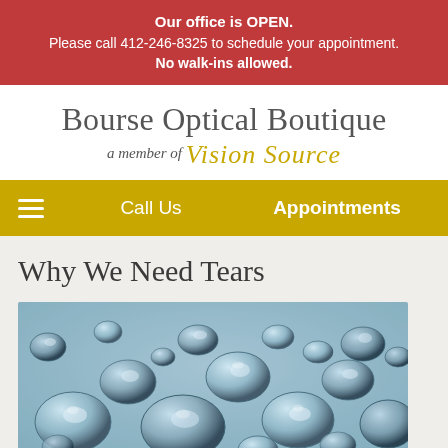Our office is OPEN. Please call 412-246-8325 to schedule your appointment. No walk-ins allowed.
Bourse Optical Boutique a member of Vision Source
Call Us   Appointments
Why We Need Tears
[Figure (photo): Close-up photo of water droplets on a glass surface]